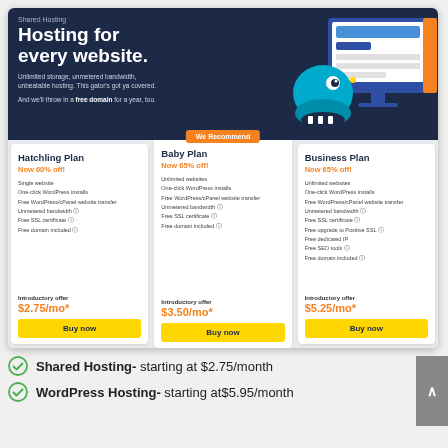[Figure (screenshot): HostGator shared hosting pricing page screenshot showing three plans: Hatchling Plan at $2.75/mo (60% off), Baby Plan at $3.50/mo (65% off), and Business Plan at $5.25/mo (65% off), with a dark banner header saying 'Hosting for every website.']
Shared Hosting- starting at $2.75/month
WordPress Hosting- starting at$5.95/month